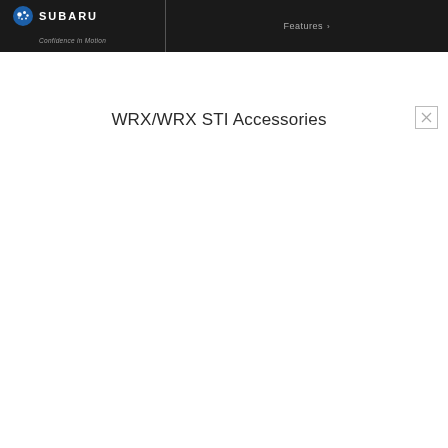SUBARU Confidence in Motion | Features
WRX/WRX STI Accessories